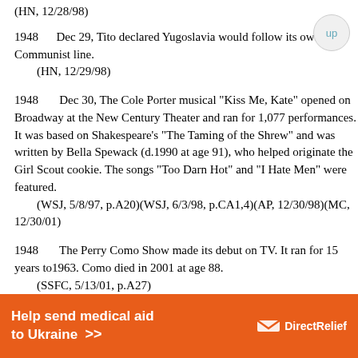(HN, 12/28/98)
1948    Dec 29, Tito declared Yugoslavia would follow its own Communist line.
    (HN, 12/29/98)
1948    Dec 30, The Cole Porter musical "Kiss Me, Kate" opened on Broadway at the New Century Theater and ran for 1,077 performances. It was based on Shakespeare's "The Taming of the Shrew" and was written by Bella Spewack (d.1990 at age 91), who helped originate the Girl Scout cookie. The songs "Too Darn Hot" and "I Hate Men" were featured.
    (WSJ, 5/8/97, p.A20)(WSJ, 6/3/98, p.CA1,4)(AP, 12/30/98)(MC, 12/30/01)
1948    The Perry Como Show made its debut on TV. It ran for 15 years to1963. Como died in 2001 at age 88.
    (SSFC, 5/13/01, p.A27)
1948    Alexander Calder (1898-1976)...
[Figure (other): Orange advertisement banner: 'Help send medical aid to Ukraine >>' with Direct Relief logo]